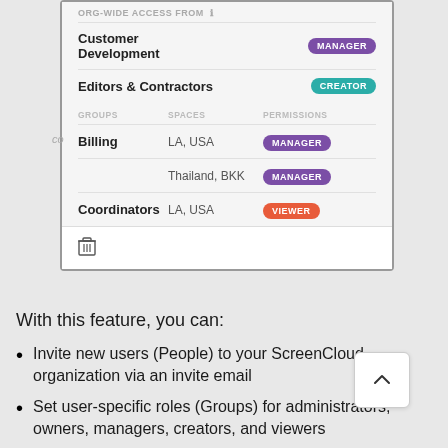[Figure (screenshot): UI panel showing org-wide access permissions. Rows: 'Customer Development' with MANAGER badge (purple), 'Editors & Contractors' with CREATOR badge (teal). Then a groups sub-table with columns GROUPS, SPACES, PERMISSIONS: 'Billing' / 'LA, USA' / MANAGER (purple), 'Billing' / 'Thailand, BKK' / MANAGER (purple), 'Coordinators' / 'LA, USA' / VIEWER (red). Bottom has a trash/delete icon.]
With this feature, you can:
Invite new users (People) to your ScreenCloud organization via an invite email
Set user-specific roles (Groups) for administrators, owners, managers, creators, and viewers